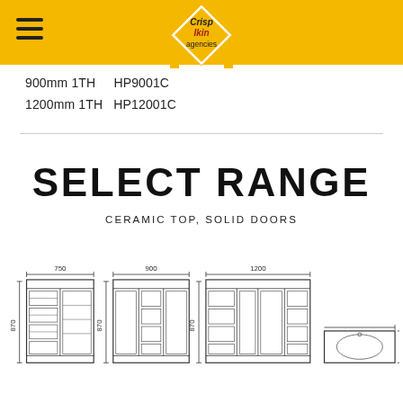Crisp Ikin agencies
900mm 1TH    HP9001C
1200mm 1TH   HP12001C
SELECT RANGE
CERAMIC TOP, SOLID DOORS
[Figure (engineering-diagram): Four technical line drawings of bathroom vanity units: 750mm wide (870mm tall), 900mm wide (870mm tall), 1200mm wide (870mm tall), and a top-view basin diagram (460mm tall). Dimensions labeled in mm.]